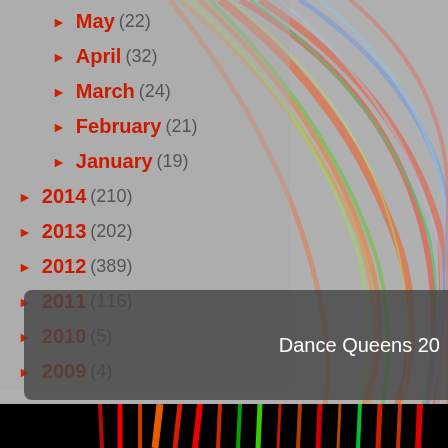[Figure (illustration): Abstract colorful light streaks (orange, green, blue, red) on a gray background, with a dark panel at bottom showing partial text 'Dance Queens 20' and a black bar with colored streaks at the very bottom.]
► May (22)
► April (32)
► March (24)
► February (21)
► January (19)
► 2014 (210)
► 2013 (202)
► 2012 (389)
► 2011 (116)
► 2010 (5)
► 2009 (4)
Dance Queens 20